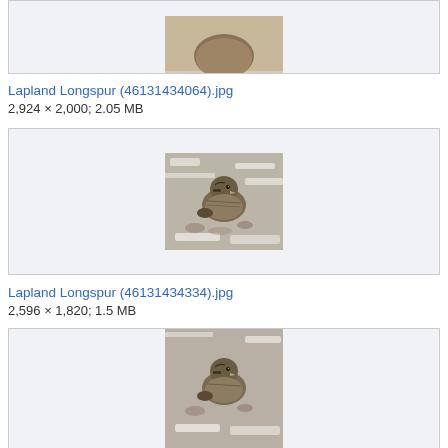[Figure (photo): Top of page: partial image box showing bottom portion of a Lapland Longspur bird photo, cut off at top]
Lapland Longspur (46131434064).jpg
2,924 × 2,000; 2.05 MB
[Figure (photo): Photo of a Lapland Longspur bird sitting on snowy/rocky ground, brownish speckled plumage]
Lapland Longspur (46131434334).jpg
2,596 × 1,820; 1.5 MB
[Figure (photo): Partial photo of a Lapland Longspur bird on snowy/rocky ground, cut off at bottom of page]